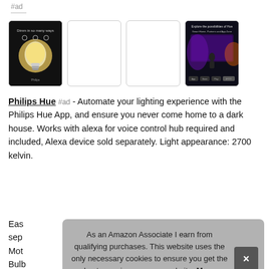#ad
[Figure (photo): Four product thumbnail images in a row: first shows a Philips Hue smart bulb on dark background, second and third are empty white boxes, fourth shows a colorful TV/entertainment scene with app store badges]
Philips Hue #ad - Automate your lighting experience with the Philips Hue App, and ensure you never come home to a dark house. Works with alexa for voice control hub required and included, Alexa device sold separately. Light appearance: 2700 kelvin.
Eas
sep
Mot
Bulb
Hor
As an Amazon Associate I earn from qualifying purchases. This website uses the only necessary cookies to ensure you get the best experience on our website. More information